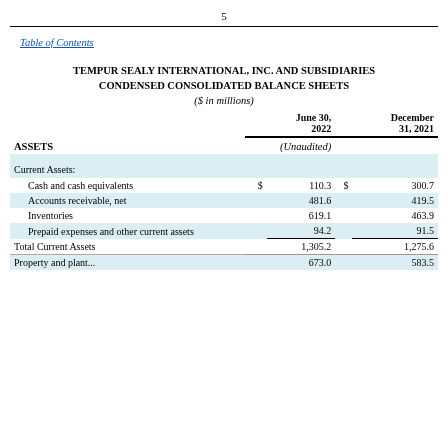5
Table of Contents
TEMPUR SEALY INTERNATIONAL, INC. AND SUBSIDIARIES
CONDENSED CONSOLIDATED BALANCE SHEETS
($ in millions)
|  | June 30, 2022 | December 31, 2021 |
| --- | --- | --- |
| ASSETS | (Unaudited) |  |
| Current Assets: |  |  |
| Cash and cash equivalents | $ 110.3 | $ 300.7 |
| Accounts receivable, net | 481.6 | 419.5 |
| Inventories | 619.1 | 463.9 |
| Prepaid expenses and other current assets | 94.2 | 91.5 |
| Total Current Assets | 1,305.2 | 1,275.6 |
| Property and plant (truncated)... | 673.0 | 583.5 |